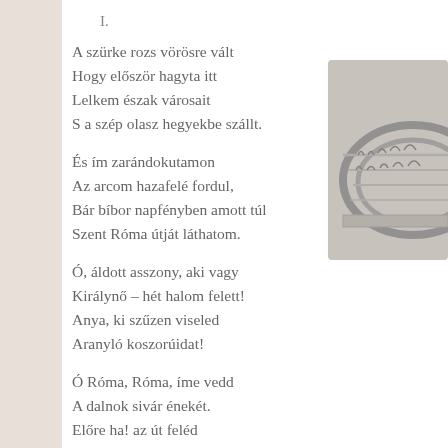[Figure (illustration): Grayscale image of the Colosseum in Rome, partially visible at the right side of the page]
I.
A szürke rozs vörösre vált
Hogy először hagyta itt
Lelkem észak városait
S a szép olasz hegyekbe szállt.
És ím zarándokutamon
Az arcom hazafelé fordul,
Bár bíbor napfényben amott túl
Szent Róma útját láthatom.
Ó, áldott asszony, aki vagy
Királynő – hét halom felett!
Anya, ki szűzen viseled
Aranyló koszorúidat!
Ó Róma, Róma, íme vedd
A dalnok sivár énekét.
Előre ha! az út feléd
Még oly hosszú és meredek.
II.
És mégis, mily örümet hoz rám